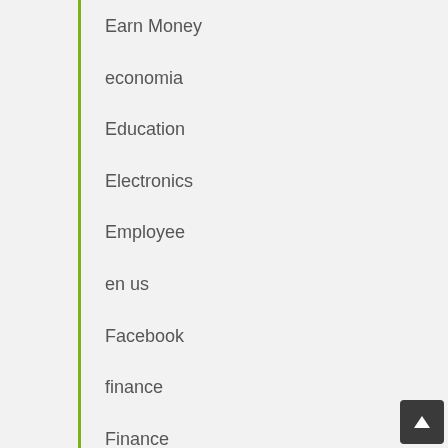Earn Money
economia
Education
Electronics
Employee
en us
Facebook
finance
Finance
france-fr
Gadgets